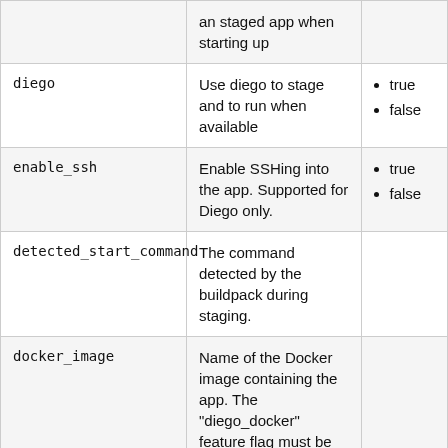| Field | Description | Valid Values |
| --- | --- | --- |
|  | an staged app when starting up |  |
| diego | Use diego to stage and to run when available | true
false |
| enable_ssh | Enable SSHing into the app. Supported for Diego only. | true
false |
| detected_start_command | The command detected by the buildpack during staging. |  |
| docker_image | Name of the Docker image containing the app. The "diego_docker" feature flag must be enabled in order to |  |